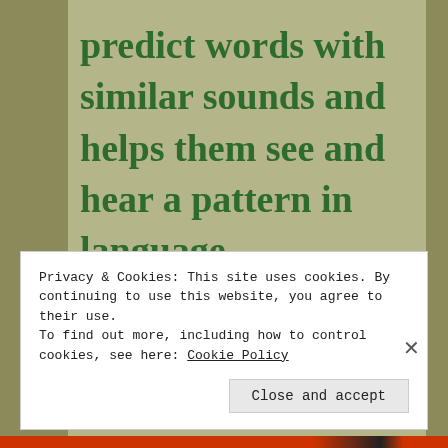predict words with similar sounds and helps them see and hear a pattern in language.
*
Privacy & Cookies: This site uses cookies. By continuing to use this website, you agree to their use.
To find out more, including how to control cookies, see here: Cookie Policy